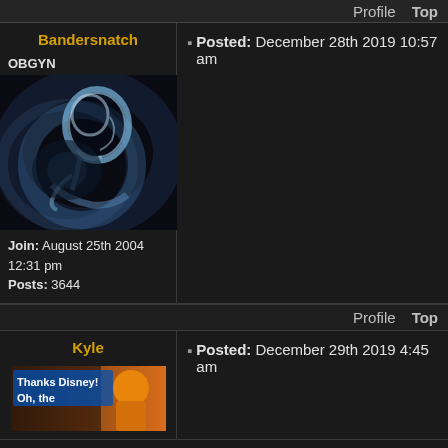Profile  Top
Bandersnatch
Posted: December 28th 2019 10:57 am
OBGYN
[Figure (photo): Ultrasound or artistic rendering of a fetus profile in blue/white tones against a dark background]
Join: August 25th 2004 12:31 pm
Posts: 3644
Profile  Top
Kyle
Posted: December 29th 2019 4:45 am
[Figure (screenshot): Image with text 'Thanks Disney! Oh, the' with a cartoon/movie scene background]